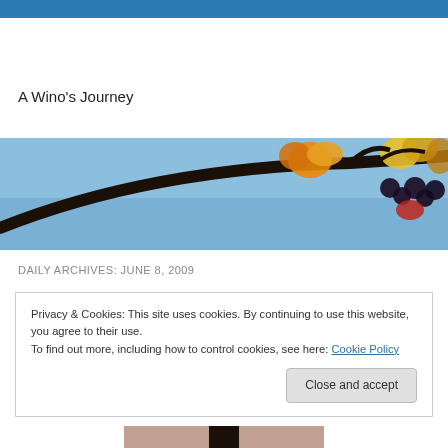A Wino's Journey
[Figure (photo): Close-up photo of a grapevine branch with autumn-colored leaves and dark grape clusters against a blue sky background.]
DAILY ARCHIVES: JUNE 8, 2009
Privacy & Cookies: This site uses cookies. By continuing to use this website, you agree to their use.
To find out more, including how to control cookies, see here: Cookie Policy

Close and accept
[Figure (photo): Partial photo at the bottom of the page, appears to show a person or object, mostly cropped.]